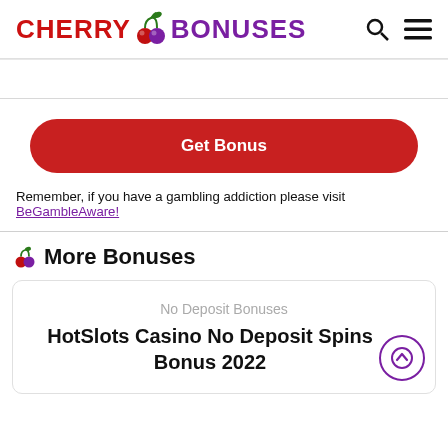CHERRY BONUSES
Get Bonus
Remember, if you have a gambling addiction please visit BeGambleAware!
More Bonuses
No Deposit Bonuses
HotSlots Casino No Deposit Spins Bonus 2022